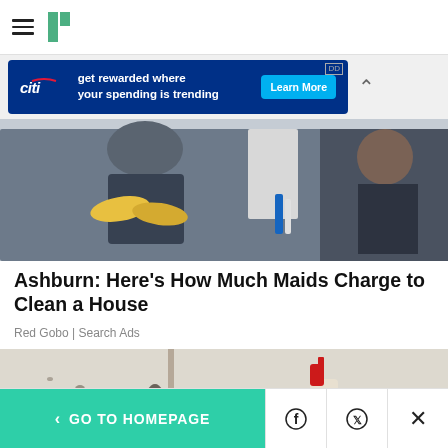HuffPost navigation header with hamburger menu and logo
[Figure (screenshot): Citi advertisement banner: 'get rewarded where your spending is trending' with Learn More button]
[Figure (photo): Two cleaning maids in dark uniforms with yellow rubber gloves in a bathroom setting]
Ashburn: Here's How Much Maids Charge to Clean a House
Red Gobo | Search Ads
[Figure (photo): Mold on a wall corner with a spray bottle with red and yellow cap being held by someone with yellow gloves]
< GO TO HOMEPAGE | Facebook | Twitter | X (close)